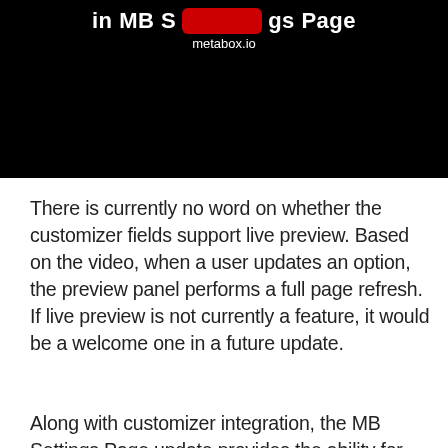[Figure (screenshot): Video thumbnail showing a dark/black background with a partial title text 'in MB S[redacted]gs Page' in white bold text, a red pill/badge overlay, and 'metabox.io' subtitle in white text below.]
There is currently no word on whether the customizer fields support live preview. Based on the video, when a user updates an option, the preview panel performs a full page refresh. If live preview is not currently a feature, it would be a welcome one in a future update.
Along with customizer integration, the MB Settings Page update provides the ability for developers to